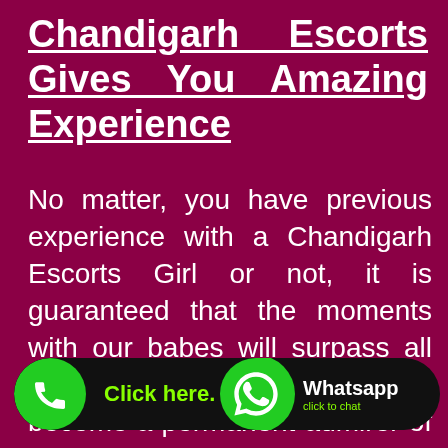Chandigarh Escorts Gives You Amazing Experience
No matter, you have previous experience with a Chandigarh Escorts Girl or not, it is guaranteed that the moments with our babes will surpass all the entertainment. You will become a permanent admirer of our girls and book them multiple times our. If you some official work, then is important